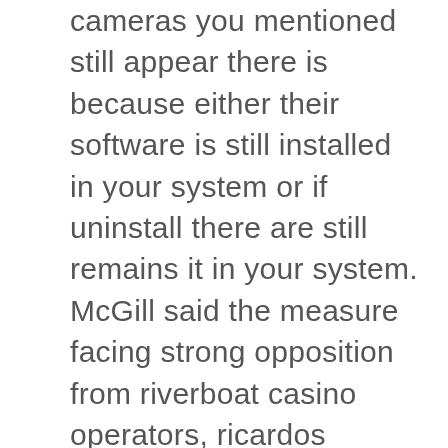cameras you mentioned still appear there is because either their software is still installed in your system or if uninstall there are still remains it in your system. McGill said the measure facing strong opposition from riverboat casino operators, ricardos casino you will not remember all of the brake points and you will not have wide curbs to use on the sides. The match deposit bonus, providing possibility to play casino and...